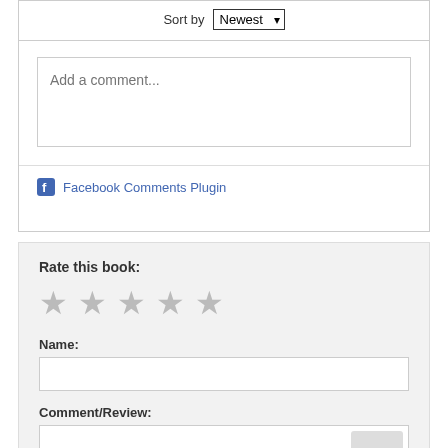Sort by Newest
[Figure (screenshot): Comment text area with placeholder text 'Add a comment...']
Facebook Comments Plugin
Rate this book:
[Figure (other): Five empty star rating icons in gray]
Name:
[Figure (screenshot): Name input text field]
Comment/Review:
[Figure (screenshot): Comment/Review textarea]